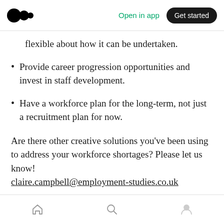Medium app header — Open in app | Get started
flexible about how it can be undertaken.
Provide career progression opportunities and invest in staff development.
Have a workforce plan for the long-term, not just a recruitment plan for now.
Are there other creative solutions you’ve been using to address your workforce shortages? Please let us know!
claire.campbell@employment-studies.co.uk
Subscribe to blog posts
Bottom navigation bar — Home | Search | Profile